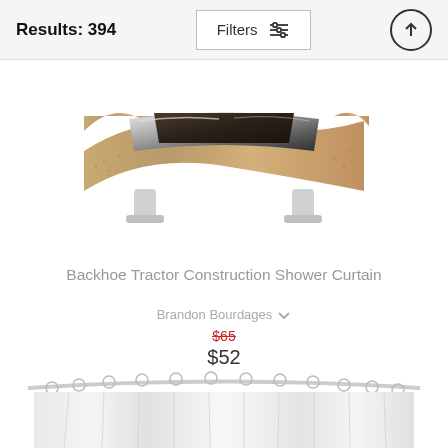Results: 394
Filters
[Figure (photo): Product photo of a decorative piece with sandy/beige wavy texture and chrome/mirror elements on white legs]
Backhoe Tractor Construction Shower Curtain
Brandon Bourdages
$65 (strikethrough) $52
[Figure (photo): Bottom of a white shower curtain hanging from a curved rod with rings]